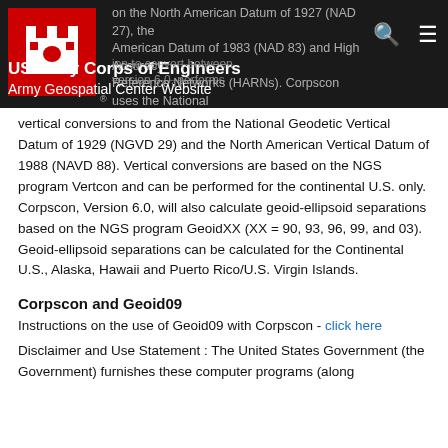US Army Corps of Engineers
Army Geospatial Center Website
vertical conversions to and from the National Geodetic Vertical Datum of 1929 (NGVD 29) and the North American Vertical Datum of 1988 (NAVD 88). Vertical conversions are based on the NGS program Vertcon and can be performed for the continental U.S. only. Corpscon, Version 6.0, will also calculate geoid-ellipsoid separations based on the NGS program GeoidXX (XX = 90, 93, 96, 99, and 03). Geoid-ellipsoid separations can be calculated for the Continental U.S., Alaska, Hawaii and Puerto Rico/U.S. Virgin Islands.
Corpscon and Geoid09
Instructions on the use of Geoid09 with Corpscon - click here
Disclaimer and Use Statement : The United States Government (the Government) furnishes these computer programs (along